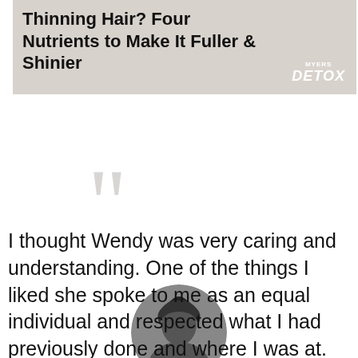[Figure (other): Advertisement banner with dark background showing text 'Thinning Hair? Four Nutrients to Make It Fuller & Shinier' and Myers Detox logo]
I thought Wendy was very caring and understanding. One of the things I liked she spoke to me as an equal individual and respected what I had previously done and where I was at. Was very informative and helped gather what I had discovered into …
[Figure (photo): Circular profile photo of a person with dark hair]